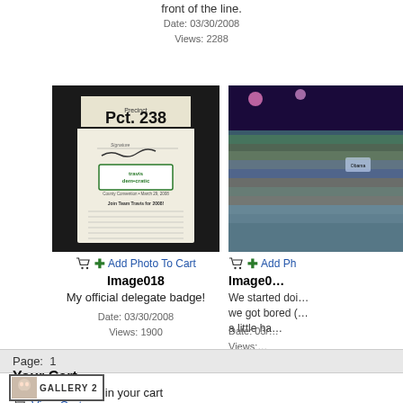front of the line.
Date: 03/30/2008
Views: 2288
[Figure (photo): Photo of a delegate badge showing 'Pct. 238' and travis democratic party convention info]
Add Photo To Cart
Image018
My official delegate badge!
Date: 03/30/2008
Views: 1900
[Figure (photo): Photo of a large crowd at what appears to be a political convention or rally]
Add Ph...
Image0...
We started doi... we got bored (... a little ha...
Date: 03/... Views:...
Page:  1
Your Cart
You have 0 items in your cart
View Cart
[Figure (logo): Gallery 2 logo badge with face icon]